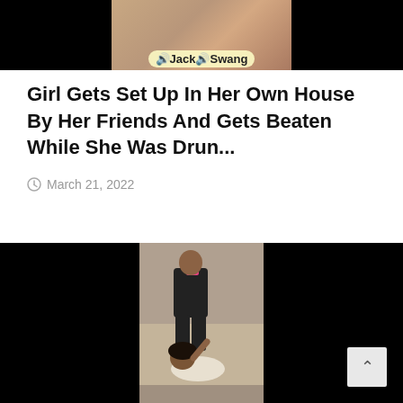[Figure (screenshot): Top portion of a video with black letterbox bars on left and right, center shows a thumbnail with text overlay reading 'Jack🔊Swang' on a warm-toned background]
Girl Gets Set Up In Her Own House By Her Friends And Gets Beaten While She Was Drun...
March 21, 2022
[Figure (screenshot): Video player with black letterbox bars on left and right, center shows two people in a physical altercation on a carpeted floor — one person in black top with pink strap standing over another person on the ground. A scroll-to-top button (^) is visible in the bottom right corner.]